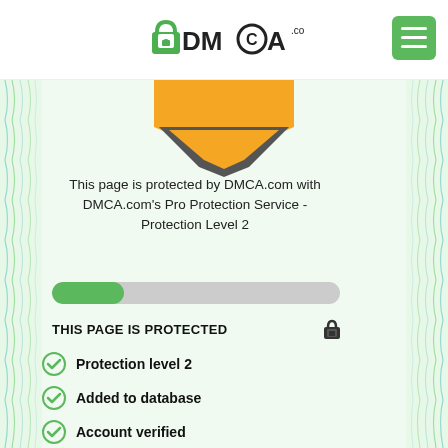[Figure (logo): DMCA.com logo with padlock icon]
[Figure (illustration): Green menu button (hamburger icon) in top right]
[Figure (illustration): Orange and dark chevron/shield shape at top of certificate]
This page is protected by DMCA.com with DMCA.com's Pro Protection Service - Protection Level 2
[Figure (infographic): Progress bar, mostly grey with green fill on left portion]
THIS PAGE IS PROTECTED
Protection level 2
Added to database
Account verified
Domain ownership verified